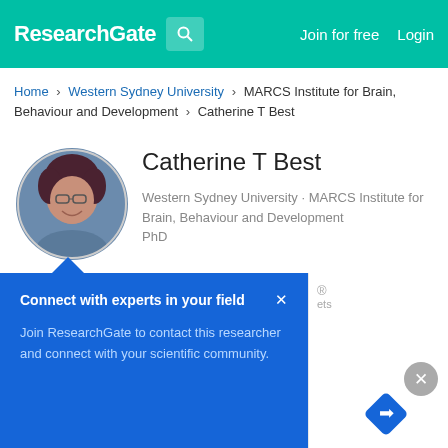ResearchGate | Join for free | Login
Home > Western Sydney University > MARCS Institute for Brain, Behaviour and Development > Catherine T Best
[Figure (photo): Circular profile photo of Catherine T Best, a woman with short dark hair and glasses, smiling]
Catherine T Best
Western Sydney University · MARCS Institute for Brain, Behaviour and Development
PhD
Contact
Projects (4)
Connect with experts in your field ×
Join ResearchGate to contact this researcher and connect with your scientific community.